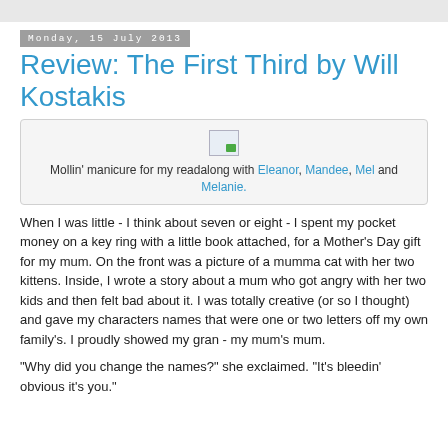Monday, 15 July 2013
Review: The First Third by Will Kostakis
[Figure (photo): Broken/placeholder image thumbnail]
Mollin' manicure for my readalong with Eleanor, Mandee, Mel and Melanie.
When I was little - I think about seven or eight - I spent my pocket money on a key ring with a little book attached, for a Mother's Day gift for my mum. On the front was a picture of a mumma cat with her two kittens. Inside, I wrote a story about a mum who got angry with her two kids and then felt bad about it. I was totally creative (or so I thought) and gave my characters names that were one or two letters off my own family's. I proudly showed my gran - my mum's mum.
"Why did you change the names?" she exclaimed. "It's bleedin' obvious it's you."